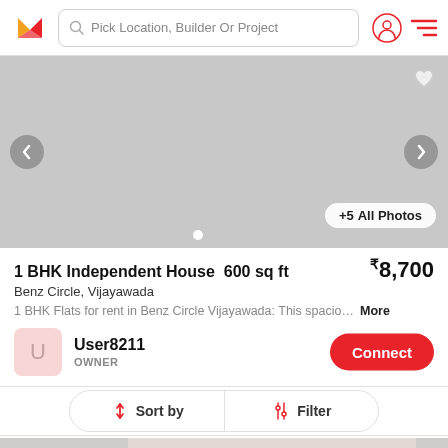Pick Location, Builder Or Project
[Figure (screenshot): Property image carousel showing a gray/empty property photo with left and right navigation arrows, +5 All Photos button, and dot indicators]
1 BHK Independent House  600 sq ft  ₹8,700
Benz Circle, Vijayawada
1 BHK Flats for rent in Benz Circle Vijayawada: This spacio… More
User8211 OWNER Connect
Sort by  Filter
[Figure (photo): Bottom property image preview showing a room interior with beige walls]